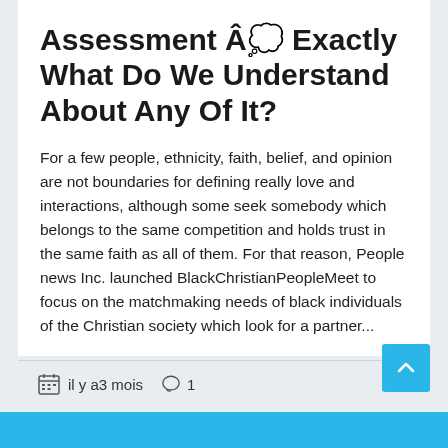Assessment Â�� Exactly What Do We Understand About Any Of It?
For a few people, ethnicity, faith, belief, and opinion are not boundaries for defining really love and interactions, although some seek somebody which belongs to the same competition and holds trust in the same faith as all of them. For that reason, People news Inc. launched BlackChristianPeopleMeet to focus on the matchmaking needs of black individuals of the Christian society which look for a partner...
il y a3 mois  1